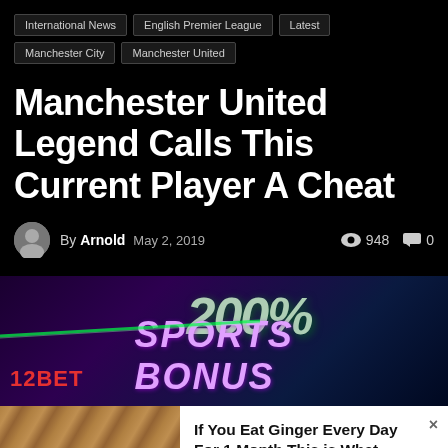International News
English Premier League
Latest
Manchester City
Manchester United
Manchester United Legend Calls This Current Player A Cheat
By Arnold   May 2, 2019   948 views   0 comments
[Figure (photo): Sports betting advertisement banner showing '200% SPORTS BONUS' text with cricket player imagery and 12BET logo]
[Figure (photo): Ginger root photo on left side of sponsored content card]
If You Eat Ginger Every Day For 1 Month This is What Happens
Tibgez.com | Sponsored